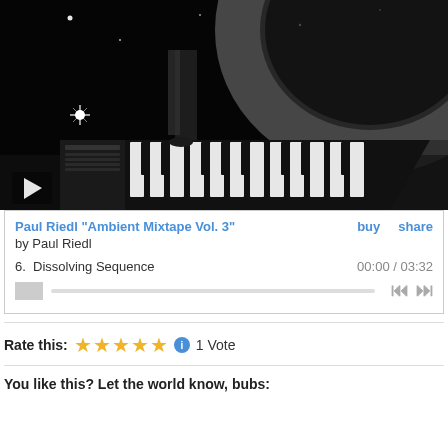[Figure (photo): Black and white photo of a person standing on a keyboard/synthesizer with a large planet and stars in the background, with a play button overlay in bottom left]
Paul Riedl "Ambient Mixtape Vol. 3"   buy   share
by Paul Riedl
6.  Dissolving Sequence   00:00 / 03:32
Rate this:  ★★★★★  ⓘ  1 Vote
You like this? Let the world know, bubs: